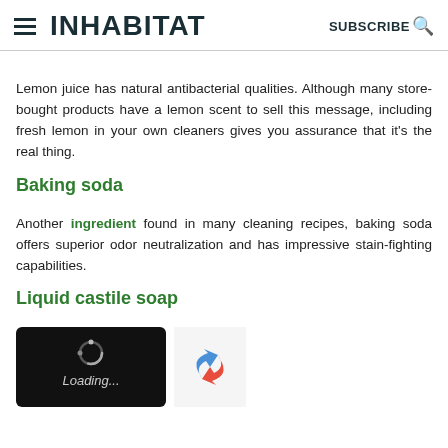INHABITAT  SUBSCRIBE
Lemon juice has natural antibacterial qualities. Although many store-bought products have a lemon scent to sell this message, including fresh lemon in your own cleaners gives you assurance that it's the real thing.
Baking soda
Another ingredient found in many cleaning recipes, baking soda offers superior odor neutralization and has impressive stain-fighting capabilities.
Liquid castile soap
[Figure (screenshot): Loading spinner with 'Loading...' text on dark background, and a partial reCAPTCHA logo on the right]